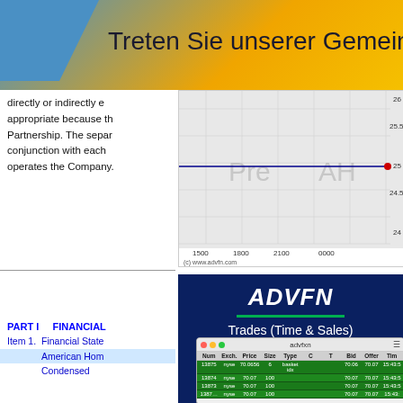Treten Sie unserer Gemeinsha
directly or indirectly e appropriate because th Partnership. The separ conjunction with each operates the Company.
[Figure (continuous-plot): Stock price chart showing a flat horizontal line at approximately 25, with Pre-market and After-Hours (AH) zones labeled. Y-axis range 24 to 26. X-axis shows times 1500, 1800, 2100, 0000. Red dot at end of line near 25. Copyright (c) www.advfn.com.]
[Figure (screenshot): ADVFN logo with green underline and subtitle 'Trades (Time & Sales)' on dark navy background]
[Figure (screenshot): ADVFN trades time and sales table screenshot showing columns: Num, Exch., Price, Size, Type, C, T, Bid, Offer, Tim. Rows show trades 13875-13872 on nyse at prices around 70.07.]
PART I   FINANCIAL
Item 1.   Financial State
American Hom
Condensed